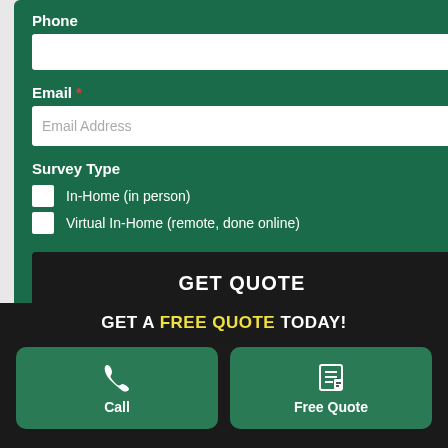Phone
Email *
Survey Type
In-Home (in person)
Virtual In-Home (remote, done online)
GET QUOTE
GET A FREE QUOTE TODAY!
Call
Free Quote